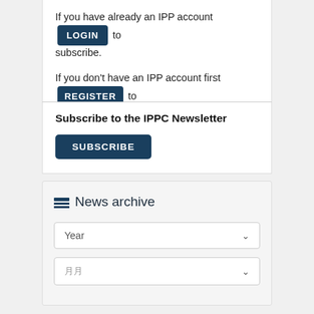If you have already an IPP account LOGIN to subscribe.
If you don't have an IPP account first REGISTER to subscribe.
Subscribe to the IPPC Newsletter
SUBSCRIBE
News archive
Year
월